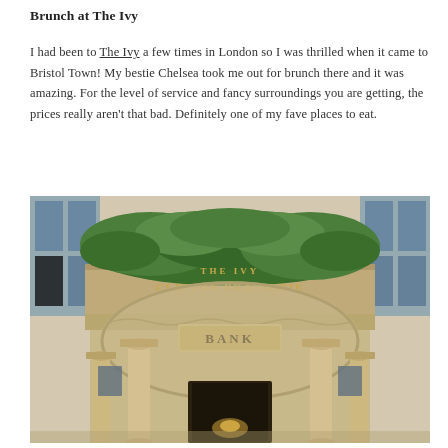Brunch at The Ivy
I had been to The Ivy a few times in London so I was thrilled when it came to Bristol Town! My bestie Chelsea took me out for brunch there and it was amazing. For the level of service and fancy surroundings you are getting, the prices really aren't that bad. Definitely one of my fave places to eat.
[Figure (photo): Exterior photograph of The Ivy Clifton Brasserie, showing a grand neoclassical building facade with ornate stonework, large columns at the entrance, a curved balcony topped with lush green hedges/topiary, and gold lettering reading 'THE IVY CLIFTON BRASSERIE' and 'BANK' on the building.]